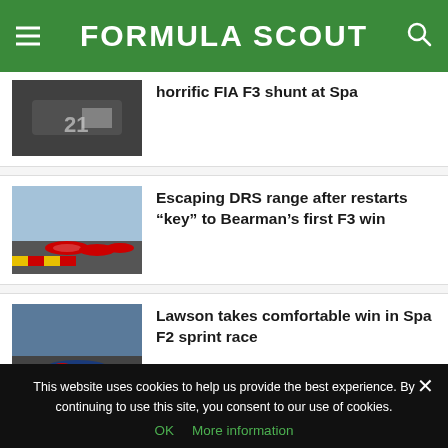FORMULA SCOUT
[Figure (photo): Damaged racing car with number 21 after a crash, Formula 3 shunt]
horrific FIA F3 shunt at Spa
[Figure (photo): Red Formula 3 racing cars on track at Spa with colourful kerbs]
Escaping DRS range after restarts “key” to Bearman’s first F3 win
[Figure (photo): Red Bull Formula 2 car on track at Spa with colourful kerbs]
Lawson takes comfortable win in Spa F2 sprint race
This website uses cookies to help us provide the best experience. By continuing to use this site, you consent to our use of cookies.
OK  More information